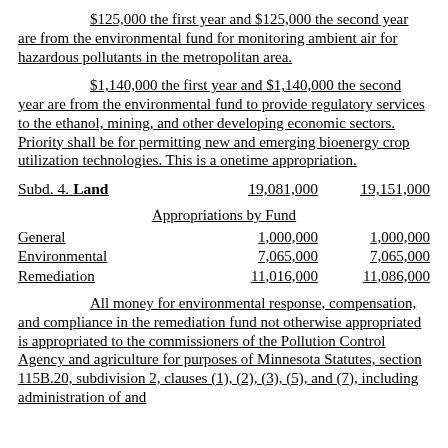$125,000 the first year and $125,000 the second year are from the environmental fund for monitoring ambient air for hazardous pollutants in the metropolitan area.
$1,140,000 the first year and $1,140,000 the second year are from the environmental fund to provide regulatory services to the ethanol, mining, and other developing economic sectors. Priority shall be for permitting new and emerging bioenergy crop utilization technologies. This is a onetime appropriation.
Subd. 4. Land    19,081,000    19,151,000
Appropriations by Fund
General    1,000,000    1,000,000
Environmental    7,065,000    7,065,000
Remediation    11,016,000    11,086,000
All money for environmental response, compensation, and compliance in the remediation fund not otherwise appropriated is appropriated to the commissioners of the Pollution Control Agency and agriculture for purposes of Minnesota Statutes, section 115B.20, subdivision 2, clauses (1), (2), (3), (5), and (7), including administration of and assistance to the petroleum tank release cleanup program, and for purposes of Minnesota Statutes, section 115B.17, subdivision 14.